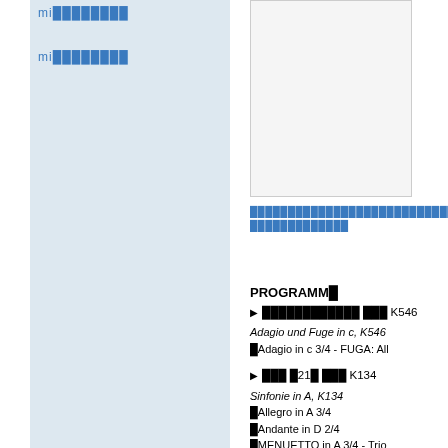mi████████
mi████████
[Figure (photo): Rectangular image box, partially visible, light gray background]
████████████████████████████████████████
PROGRAMM█
► ████████████ ███ K546
Adagio und Fuge in c, K546
█Adagio in c 3/4 - FUGA: All
► ███ █21█ ███ K134
Sinfonie in A, K134
█Allegro in A 3/4
█Andante in D 2/4
█MENUETTO in A 3/4 - Trio
█Allegro in A 2/2